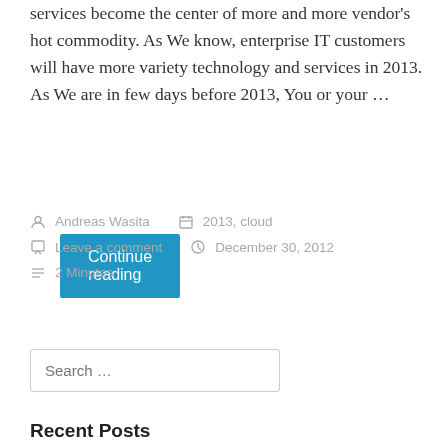services become the center of more and more vendor's hot commodity. As We know, enterprise IT customers will have more variety technology and services in 2013. As We are in few days before 2013, You or your …
Continue reading
Andreas Wasita
2013, cloud
Leave a comment
December 30, 2012
2 Minutes
Search …
Recent Posts